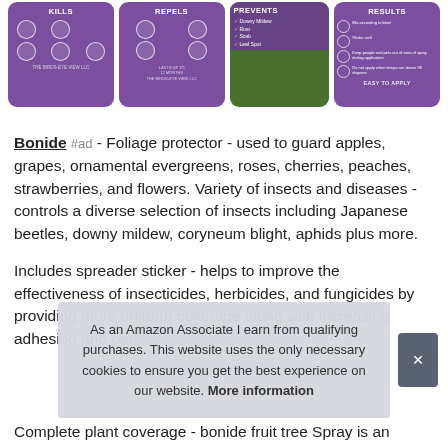[Figure (screenshot): Four purple product cards showing: KILLS (with insect icons), REPELS (with insect icons), PREVENTS (with checklist and plant photo), RESULTS (with bullet points and EASY TO APPLY text)]
Bonide #ad - Foliage protector - used to guard apples, grapes, ornamental evergreens, roses, cherries, peaches, strawberries, and flowers. Variety of insects and diseases - controls a diverse selection of insects including Japanese beetles, downy mildew, coryneum blight, aphids plus more.
Includes spreader sticker - helps to improve the effectiveness of insecticides, herbicides, and fungicides by providing more uniform coverage along with increasing adhesion and pen
As an Amazon Associate I earn from qualifying purchases. This website uses the only necessary cookies to ensure you get the best experience on our website. More information
Complete plant coverage - bonide fruit tree Spray is an